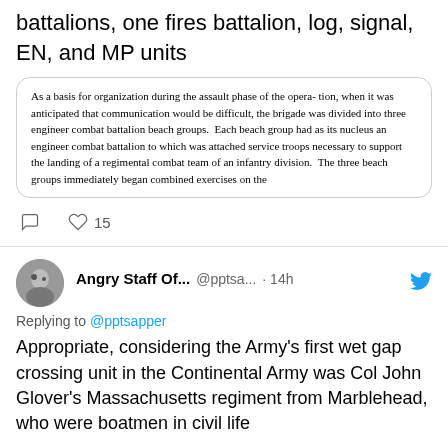battalions, one fires battalion, log, signal, EN, and MP units
[Figure (screenshot): Quoted/embedded text box with rounded border containing historical text about brigade organization during assault phase, divided into three engineer combat battalion beach groups]
15 (like count)
Angry Staff Of... @pptsa... · 14h
Replying to @pptsapper
Appropriate, considering the Army's first wet gap crossing unit in the Continental Army was Col John Glover's Massachusetts regiment from Marblehead, who were boatmen in civil life

Lineage carried today by the 101st Engineer Battalion, MAARNG, appropriately